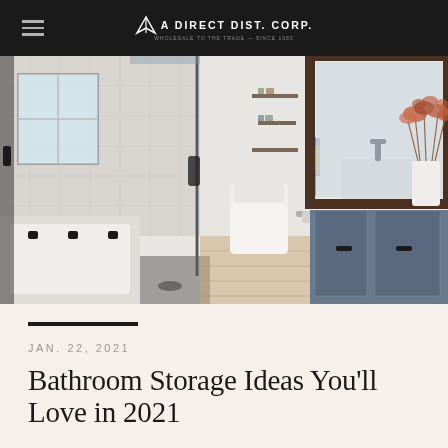AA Direct Dist. Corp.
[Figure (photo): Modern bathroom interior with glass shower enclosure, gray vanity cabinets with black hardware, white countertop, toilet, wall-mounted shelves with decorative items, and a vase with dried flowers on the counter. Light wood flooring throughout.]
JAN. 22, 2021
Bathroom Storage Ideas You'll Love in 2021